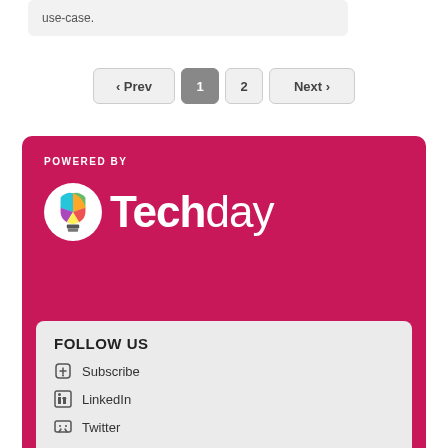use-case.
‹ Prev  1  2  Next ›
POWERED BY
[Figure (logo): Techday logo: colorful lightbulb icon with the word Techday in white on crimson background]
FOLLOW US
Subscribe
LinkedIn
Twitter